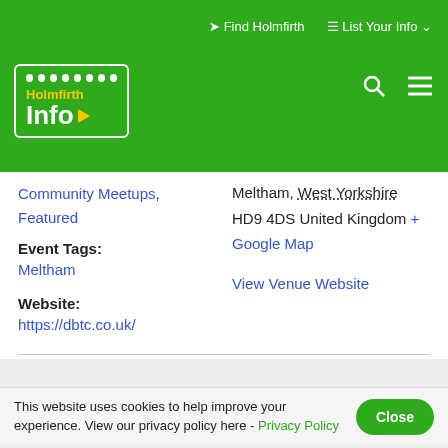Find Holmfirth  List Your Info
[Figure (logo): Holmfirth Info website logo — green box with white dots, yellow 'Holmfirth' text, white 'Info' with yellow chevron arrow]
Community Meetups, Featured
Meltham, West Yorkshire
HD9 4DS United Kingdom + Google Map
Event Tags:
Meltham
View Venue Website
Website:
https://dbtc.co.uk/
This website uses cookies to help improve your experience. View our privacy policy here - Privacy Policy